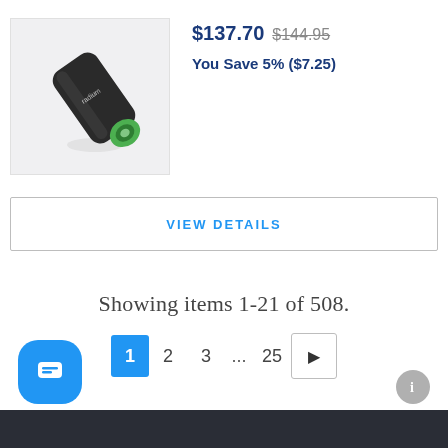[Figure (photo): Product photo of a cylindrical black and green component (Radium brand) on a light gray background]
$137.70 $144.95
You Save 5% ($7.25)
VIEW DETAILS
Showing items 1-21 of 508.
1 2 3 ... 25 ▶